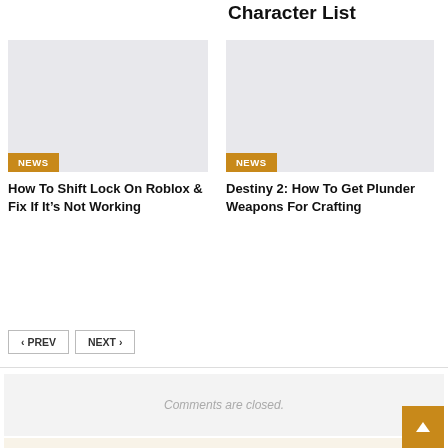Character List
[Figure (photo): Gray placeholder thumbnail for article about Roblox Shift Lock]
NEWS
How To Shift Lock On Roblox & Fix If It's Not Working
[Figure (photo): Gray placeholder thumbnail for article about Destiny 2 Plunder Weapons]
NEWS
Destiny 2: How To Get Plunder Weapons For Crafting
< PREV
NEXT >
Comments are closed.